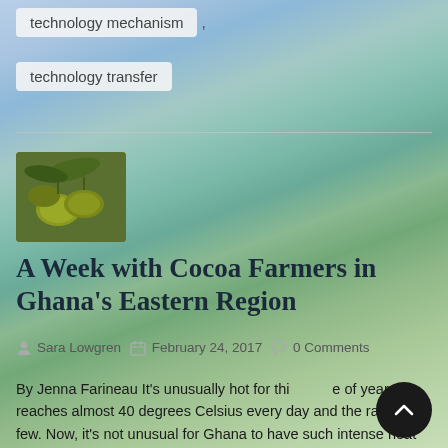technology mechanism ,
technology transfer
[Figure (photo): Thumbnail photo of yellow-green cocoa pods on a tree]
A Week with Cocoa Farmers in Ghana’s Eastern Region
Sara Lowgren   February 24, 2017   0 Comments
By Jenna Farineau It’s unusually hot for this time of year. It reaches almost 40 degrees Celsius every day and the rains are few. Now, it’s not unusual for Ghana to have such intense heat or